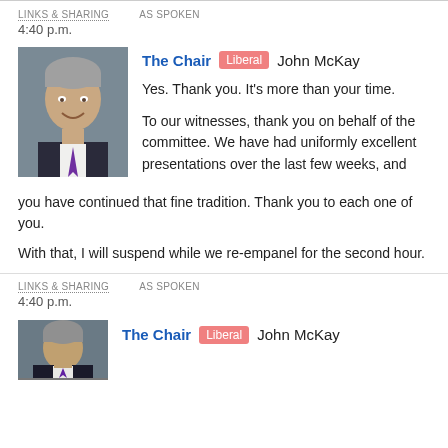LINKS & SHARING   AS SPOKEN
4:40 p.m.
The Chair  Liberal  John McKay
Yes. Thank you. It's more than your time.

To our witnesses, thank you on behalf of the committee. We have had uniformly excellent presentations over the last few weeks, and you have continued that fine tradition. Thank you to each one of you.

With that, I will suspend while we re-empanel for the second hour.
LINKS & SHARING   AS SPOKEN
4:40 p.m.
The Chair  Liberal  John McKay